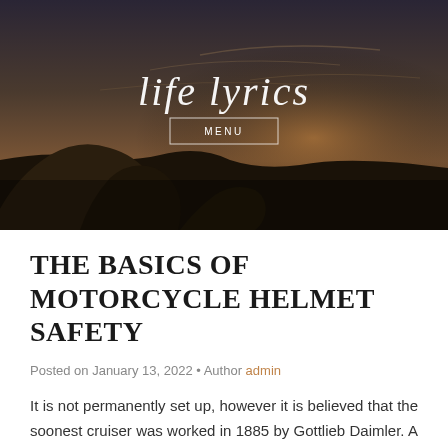[Figure (photo): Dark moody landscape photo with rocks and dramatic sky at dusk, used as website header background with blog title 'life lyrics' and MENU button overlay]
THE BASICS OF MOTORCYCLE HELMET SAFETY
Posted on January 13, 2022 • Author admin
It is not permanently set up, however it is believed that the soonest cruiser was worked in 1885 by Gottlieb Daimler. A straightforward gadget, not planned for high velocity, there